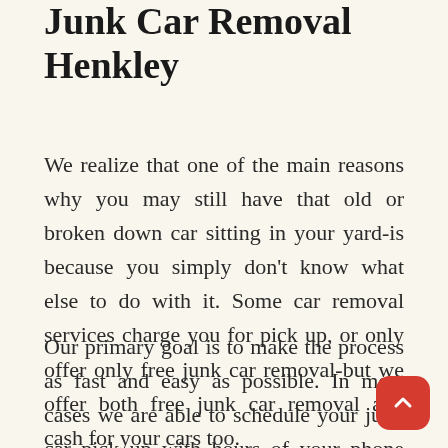Junk Car Removal Henkley
We realize that one of the main reasons why you may still have that old or broken down car sitting in your yard-is because you simply don't know what else to do with it. Some car removal services charge you for pick up, or only offer only free junk car removal-but we offer both free junk car removal and cash for your cars too.
Our primary goal is to make the process as fast and easy as possible. In most cases we are able to schedule your junk car pick up with hours of your phone call-or at the very least the next business day. Once your car is